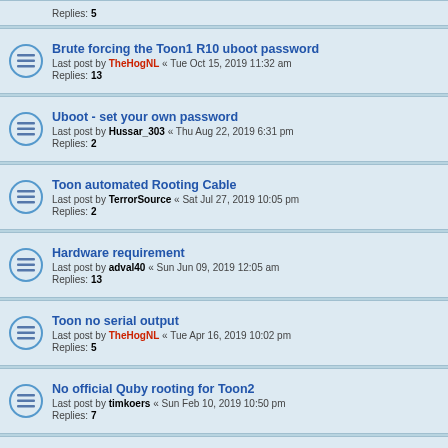Replies: 5
Brute forcing the Toon1 R10 uboot password — Last post by TheHogNL « Tue Oct 15, 2019 11:32 am — Replies: 13
Uboot - set your own password — Last post by Hussar_303 « Thu Aug 22, 2019 6:31 pm — Replies: 2
Toon automated Rooting Cable — Last post by TerrorSource « Sat Jul 27, 2019 10:05 pm — Replies: 2
Hardware requirement — Last post by adval40 « Sun Jun 09, 2019 12:05 am — Replies: 13
Toon no serial output — Last post by TheHogNL « Tue Apr 16, 2019 10:02 pm — Replies: 5
No official Quby rooting for Toon2 — Last post by timkoers « Sun Feb 10, 2019 10:50 pm — Replies: 7
Toon as a domotica controller? — Last post by TerrorSource « Fri Jan 25, 2019 12:52 pm — Replies: 581 — Pages: 1 ... 36 37 38 39
Help! My rooted Toon just crashed! — Last post by Blacky's Boss « Sat Dec 01, 2018 2:55 pm — Replies: 3
Help with rooting toon — Last post by TerrorSource « Fri Nov 09, 2018 7:48 pm